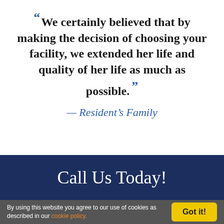“ We certainly believed that by making the decision of choosing your facility, we extended her life and quality of her life as much as possible. ”
— Resident's Family
Call Us Today!
By using this website you agree to our use of cookies as described in our cookie policy.